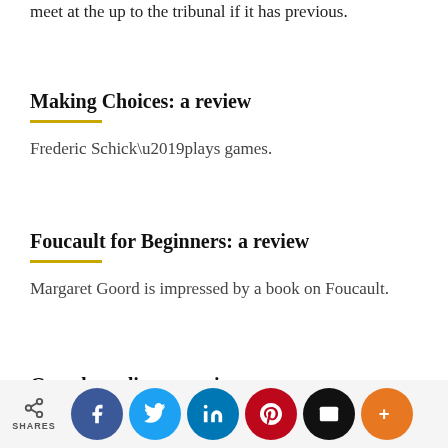meet at the up to the tribunal if it has previous.
Making Choices: a review
Frederic Schick’plays games.
Foucault for Beginners: a review
Margaret Goord is impressed by a book on Foucault.
Grandstanding: a review
SHARES | Facebook | Twitter | LinkedIn | Pinterest | Email | More